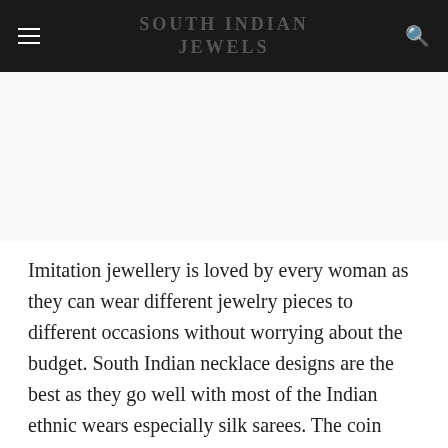SOUTH INDIAN JEWELS
Imitation jewellery is loved by every woman as they can wear different jewelry pieces to different occasions without worrying about the budget. South Indian necklace designs are the best as they go well with most of the Indian ethnic wears especially silk sarees. The coin necklaces and the Lakshmi neckpieces looks the best. In this blog post we will showcase of the evergreen neckpieces designs that